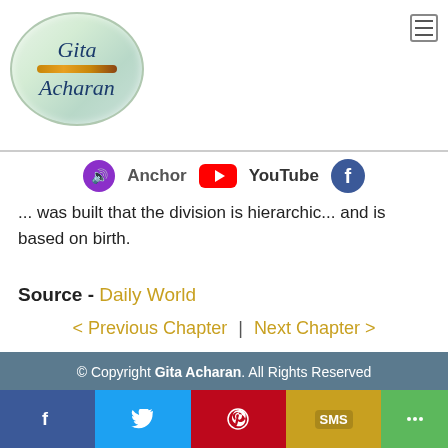[Figure (logo): Gita Acharan oval logo with flute, peacock feather, and butterfly]
[Figure (infographic): Social media icons: Anchor, YouTube, Facebook]
... was built that the division is hierarchic... and is based on birth.
Source - Daily World
< Previous Chapter | Next Chapter >
© Copyright Gita Acharan. All Rights Reserved Crafted by Ramneek
[Figure (infographic): Bottom share bar with Facebook, Twitter, Pinterest, SMS, and more buttons]